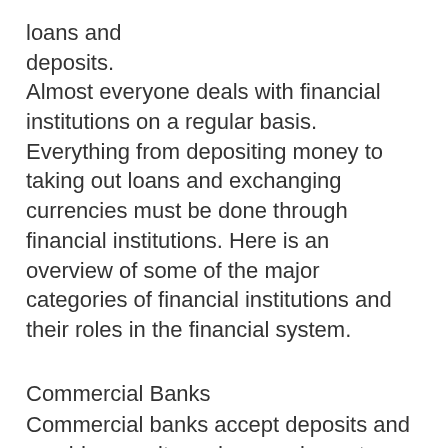loans and deposits.
Almost everyone deals with financial institutions on a regular basis. Everything from depositing money to taking out loans and exchanging currencies must be done through financial institutions. Here is an overview of some of the major categories of financial institutions and their roles in the financial system.
Commercial Banks
Commercial banks accept deposits and provide security and convenience to their customers. Part of the original purpose of banks was to offer customers safe keeping for their money. By keeping physical cash at home or in a wallet, there are risks of loss due to theft and accidents, not to mention the loss of possible income from interest. With banks, consumers no longer need to keep large amounts of currency on hand; transactions can be handled with checks, debit cards or credit cards, instead.